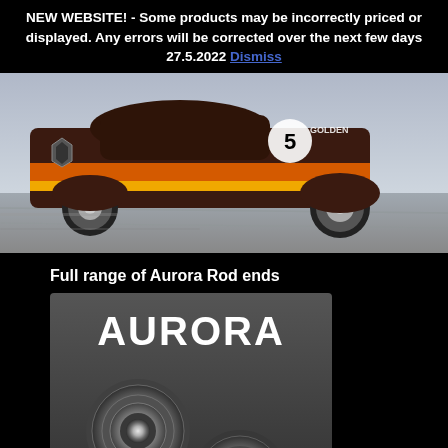NEW WEBSITE! - Some products may be incorrectly priced or displayed. Any errors will be corrected over the next few days 27.5.2022 Dismiss
[Figure (photo): A vintage racing car (dark brown/maroon with orange and yellow stripes) seen from the side, low to the ground with wide racing wheels, moving on a track surface]
Full range of Aurora Rod ends
[Figure (photo): Aurora brand rod ends product image: white AURORA logo text on dark background above close-up photos of spherical rod end bearings in greyscale]